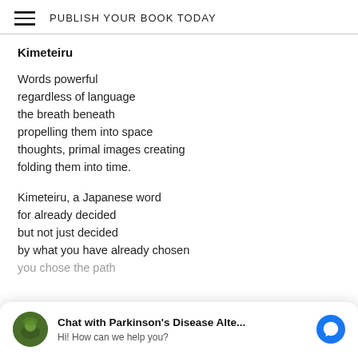PUBLISH YOUR BOOK TODAY
Kimeteiru
Words powerful
regardless of language
the breath beneath
propelling them into space
thoughts, primal images creating
folding them into time.
Kimeteiru, a Japanese word
for already decided
but not just decided
by what you have already chosen
you chose the path
Chat with Parkinson's Disease Alte...
Hi! How can we help you?